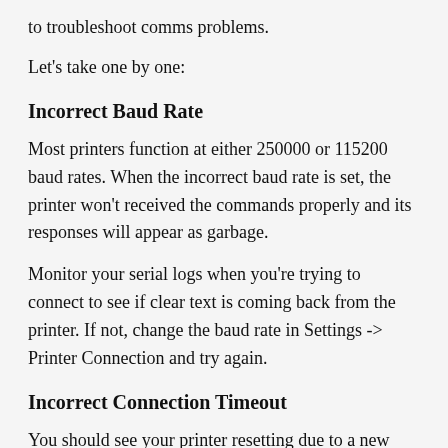to troubleshoot comms problems.
Let's take one by one:
Incorrect Baud Rate
Most printers function at either 250000 or 115200 baud rates. When the incorrect baud rate is set, the printer won't received the commands properly and its responses will appear as garbage.
Monitor your serial logs when you're trying to connect to see if clear text is coming back from the printer. If not, change the baud rate in Settings -> Printer Connection and try again.
Incorrect Connection Timeout
You should see your printer resetting due to a new USB connection, then a M105 command will be sent